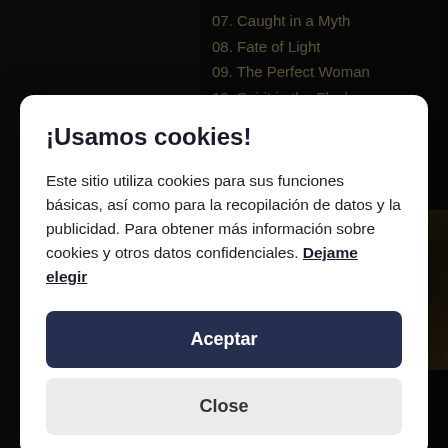07. Caught in a Myth
08. Fate of Light
09. The Perfect Woman
10. Spirit in the Flesh
11. The Order
[Figure (photo): Dark background with partially visible band photo and cookie consent modal overlay]
¡Usamos cookies!
Este sitio utiliza cookies para sus funciones básicas, así como para la recopilación de datos y la publicidad. Para obtener más información sobre cookies y otros datos confidenciales. Dejame elegir
Aceptar
Close
Georg Neuhauser (vox)